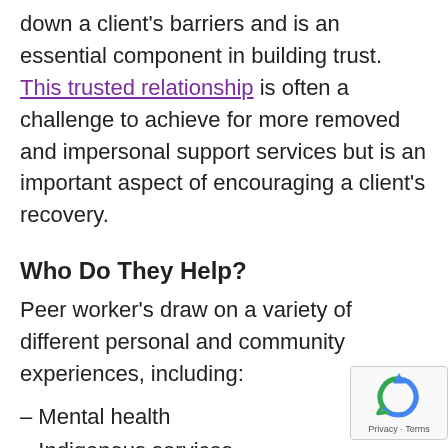down a client's barriers and is an essential component in building trust. This trusted relationship is often a challenge to achieve for more removed and impersonal support services but is an important aspect of encouraging a client's recovery.
Who Do They Help?
Peer worker's draw on a variety of different personal and community experiences, including:
– Mental health
– Indigenous services
– Drug and alcohol abuse
– Youth work
– LGBTI...